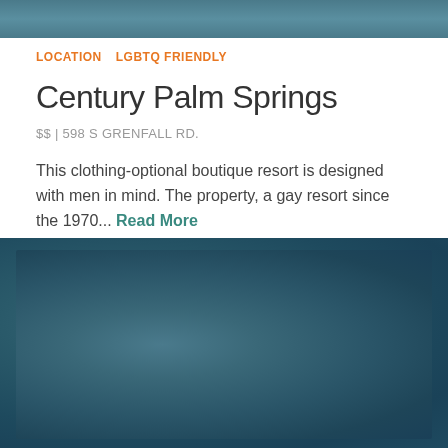[Figure (photo): Blurred/pixelated teal-blue hotel or resort photo at top of page]
LOCATION    LGBTQ FRIENDLY
Century Palm Springs
$$ | 598 S GRENFALL RD.
This clothing-optional boutique resort is designed with men in mind. The property, a gay resort since the 1970... Read More
[Figure (photo): Blurred/pixelated teal-blue resort or pool photo at bottom of page]